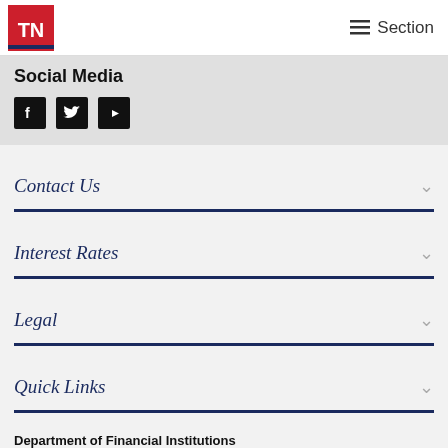TN | Section
Social Media
[Figure (other): Social media icons: Facebook, Twitter, YouTube]
Contact Us
Interest Rates
Legal
Quick Links
Department of Financial Institutions
Greg Gonzales